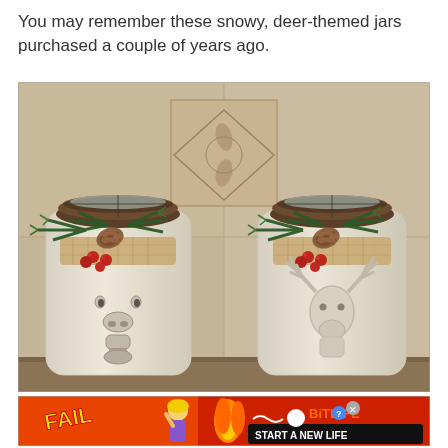You may remember these snowy, deer-themed jars purchased a couple of years ago.
[Figure (photo): Two white ceramic/frosted jars with dark brown lids, decorated with pine sprigs, pinecones, burlap ribbon, and red berries. The left jar shows a deer face (nose/mouth visible), and the right jar shows a deer silhouette. Background is a beige tile backsplash with a decorative center tile.]
[Figure (screenshot): Advertisement banner for BitLife mobile game. Orange/red background with cartoon flame graphics, a cartoon woman with blonde hair facepalming, text 'FAIL' in yellow, 'BITLIFE' logo in orange with a question mark and X, and 'START A NEW LIFE' on a black button.]